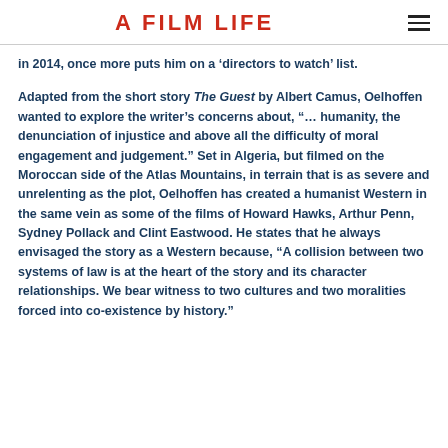A FILM LIFE
in 2014, once more puts him on a ‘directors to watch’ list.
Adapted from the short story The Guest by Albert Camus, Oelhoffen wanted to explore the writer’s concerns about, “… humanity, the denunciation of injustice and above all the difficulty of moral engagement and judgement.” Set in Algeria, but filmed on the Moroccan side of the Atlas Mountains, in terrain that is as severe and unrelenting as the plot, Oelhoffen has created a humanist Western in the same vein as some of the films of Howard Hawks, Arthur Penn, Sydney Pollack and Clint Eastwood. He states that he always envisaged the story as a Western because, “A collision between two systems of law is at the heart of the story and its character relationships. We bear witness to two cultures and two moralities forced into co-existence by history.”